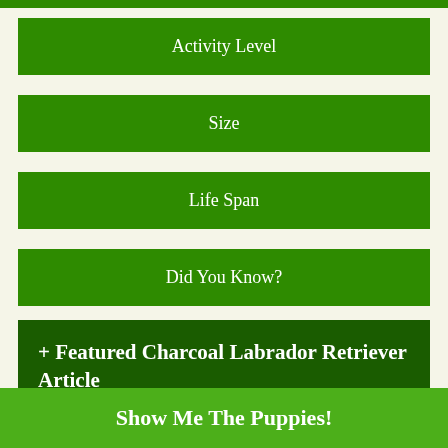Activity Level
Size
Life Span
Did You Know?
+ Featured Charcoal Labrador Retriever Article
Show Me The Puppies!